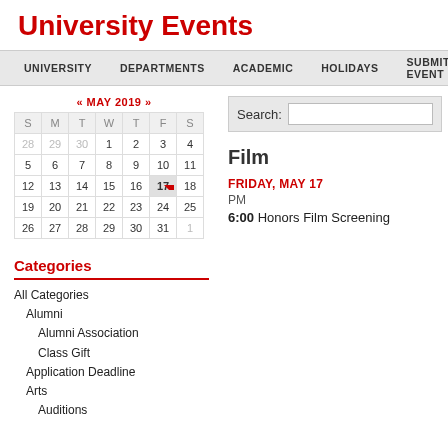University Events
UNIVERSITY   DEPARTMENTS   ACADEMIC   HOLIDAYS   SUBMIT EVENT
[Figure (other): May 2019 calendar widget showing dates 28 Apr - 1 Jun, with date 17 highlighted]
Categories
All Categories
Alumni
Alumni Association
Class Gift
Application Deadline
Arts
Auditions
Search:
Film
FRIDAY, MAY 17
PM
6:00 Honors Film Screening